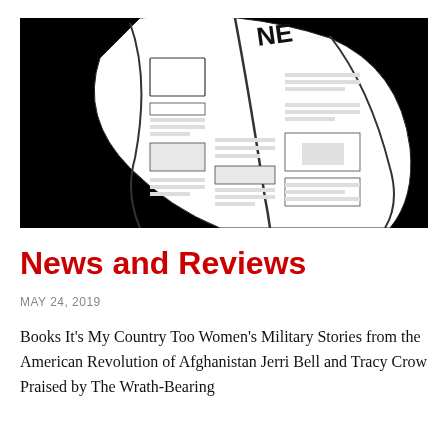[Figure (illustration): A stylized drawing of a rolled/curved newspaper on a black background. The newspaper shows abstract column lines and the letters 'NE' visible at the top.]
News and Reviews
MAY 24, 2019
Books It's My Country Too Women's Military Stories from the American Revolution of Afghanistan Jerri Bell and Tracy Crow Praised by The Wrath-Bearing